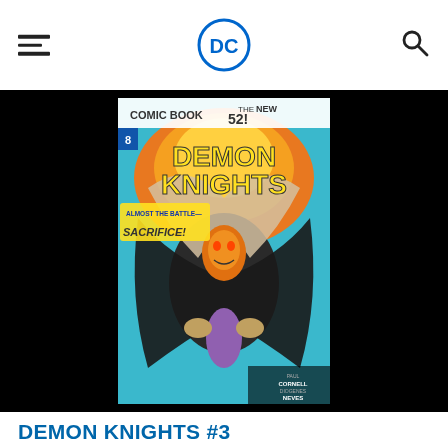DC Comics navigation header with hamburger menu, DC logo, and search icon
[Figure (illustration): Demon Knights #3 comic book cover — 'The New 52!' banner. Features a demonic armored figure with glowing orange face, wings spread, holding a purple-clad figure. Fiery orange background with teal sky. Text reads 'COMIC BOOK', 'THE NEW 52!', 'DEMON KNIGHTS', 'ALMOST THE BATTLE— SACRIFICE!'. Credits: Paul Cornell, Diogenes Neves, Oclair Albert.]
DEMON KNIGHTS #3